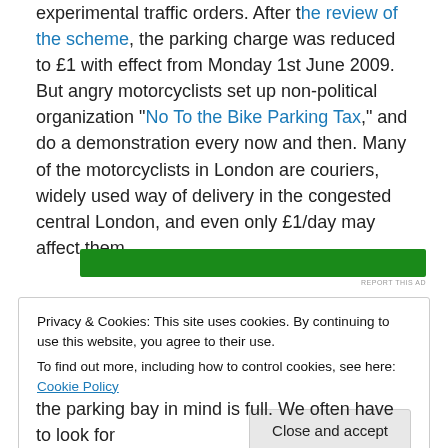experimental traffic orders. After the review of the scheme, the parking charge was reduced to £1 with effect from Monday 1st June 2009. But angry motorcyclists set up non-political organization "No To the Bike Parking Tax," and do a demonstration every now and then. Many of the motorcyclists in London are couriers, widely used way of delivery in the congested central London, and even only £1/day may affect them.
[Figure (other): Green advertisement banner with REPORT THIS AD text below]
Privacy & Cookies: This site uses cookies. By continuing to use this website, you agree to their use.
To find out more, including how to control cookies, see here: Cookie Policy
Close and accept
the parking bay in mind is full. We often have to look for